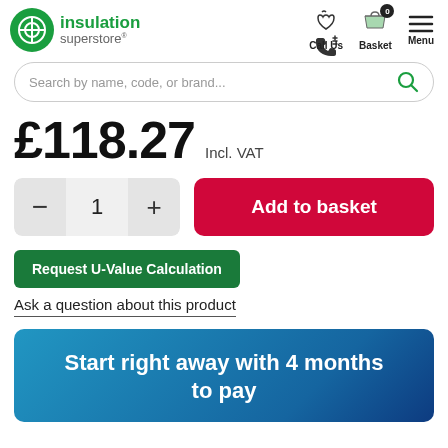[Figure (logo): Insulation Superstore logo with green circle icon, green 'insulation' text and grey 'superstore' text]
Call Us | Basket 0 | Menu
Search by name, code, or brand...
£118.27 Incl. VAT
- 1 + Add to basket
Request U-Value Calculation
Ask a question about this product
Start right away with 4 months to pay